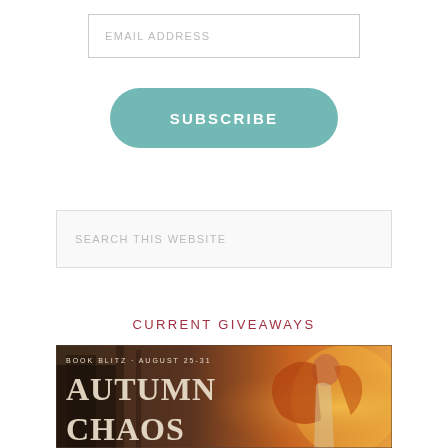EMAIL ADDRESS
SUBSCRIBE
SEARCH THIS WEBSITE
CURRENT GIVEAWAYS
[Figure (illustration): Book blitz banner for 'Autumn Chaos' with text 'BOOK BLITZ · AUGUST 25-31' and a red-haired woman with glowing magical light against a forest background.]